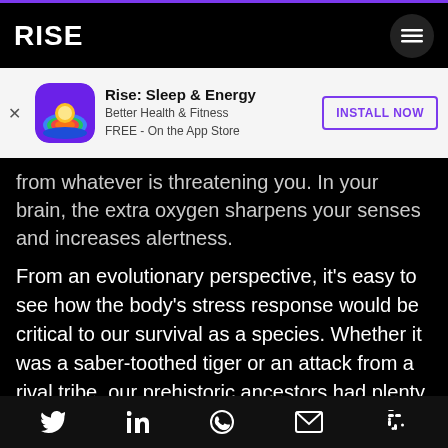RISE
[Figure (screenshot): App install banner for 'Rise: Sleep & Energy' — Better Health & Fitness, FREE - On the App Store, with INSTALL NOW button]
from whatever is threatening you. In your brain, the extra oxygen sharpens your senses and increases alertness.
From an evolutionary perspective, it's easy to see how the body's stress response would be critical to our survival as a species. Whether it was a saber-toothed tiger or an attack from a rival tribe, our prehistoric ancestors had plenty to fear as they fought to survive another day.
Social share icons: Twitter, LinkedIn, WhatsApp, Gmail, Slack